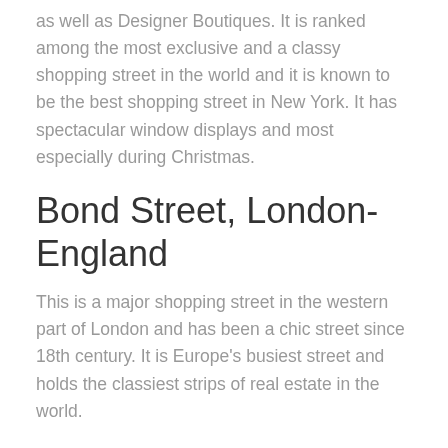as well as Designer Boutiques. It is ranked among the most exclusive and a classy shopping street in the world and it is known to be the best shopping street in New York. It has spectacular window displays and most especially during Christmas.
Bond Street, London-England
This is a major shopping street in the western part of London and has been a chic street since 18th century. It is Europe's busiest street and holds the classiest strips of real estate in the world.
Rodeo Drive-US
This glamorous shopping street is well known for its luxury stores. Rodeo drive is the best shopping street of Beverly Hills and Hollywood's. It is the home to the classiest stores